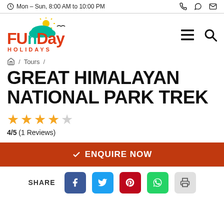Mon – Sun, 8:00 AM to 10:00 PM
[Figure (logo): FunDay Holidays logo with sun and cloud graphic, red and teal colors]
/ Tours /
GREAT HIMALAYAN NATIONAL PARK TREK
4/5 (1 Reviews)
ENQUIRE NOW
SHARE